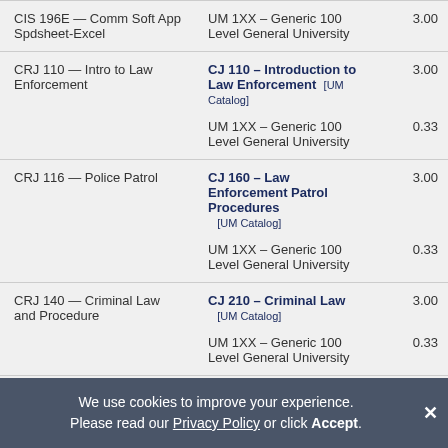| Source Course | Transfer Equivalent | Credits |
| --- | --- | --- |
| CIS 196E — Comm Soft App Spdsheet-Excel | UM 1XX – Generic 100 Level General University | 3.00 |
| CRJ 110 — Intro to Law Enforcement | CJ 110 – Introduction to Law Enforcement [UM Catalog]
UM 1XX – Generic 100 Level General University | 3.00
0.33 |
| CRJ 116 — Police Patrol | CJ 160 – Law Enforcement Patrol Procedures [UM Catalog]
UM 1XX – Generic 100 Level General University | 3.00
0.33 |
| CRJ 140 — Criminal Law and Procedure | CJ 210 – Criminal Law [UM Catalog]
UM 1XX – Generic 100 Level General University | 3.00
0.33 |
| CRJ 146 — Criminal Evidence | CJ 1XX – Generic 100 Level | 3.00 |
We use cookies to improve your experience. Please read our Privacy Policy or click Accept.